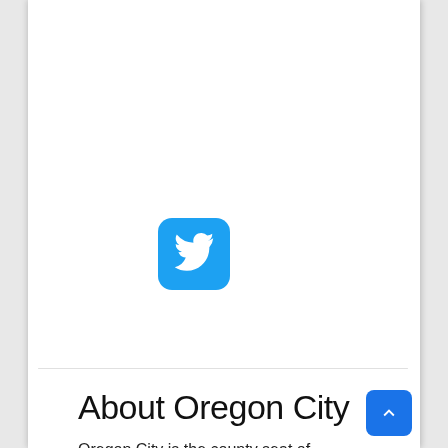[Figure (logo): Twitter bird logo icon on a blue rounded square background]
About Oregon City
Oregon City is the county seat of Clackamas County, Oregon, United States, located on the Willamette River near the southern limits of the